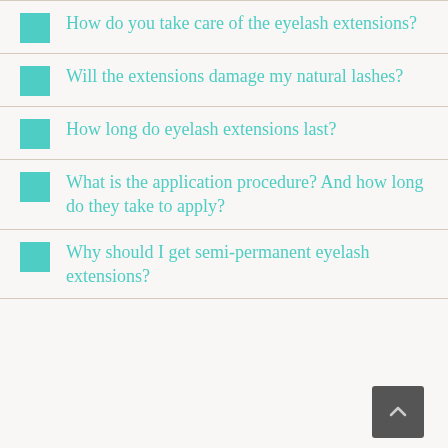How do you take care of the eyelash extensions?
Will the extensions damage my natural lashes?
How long do eyelash extensions last?
What is the application procedure? And how long do they take to apply?
Why should I get semi-permanent eyelash extensions?